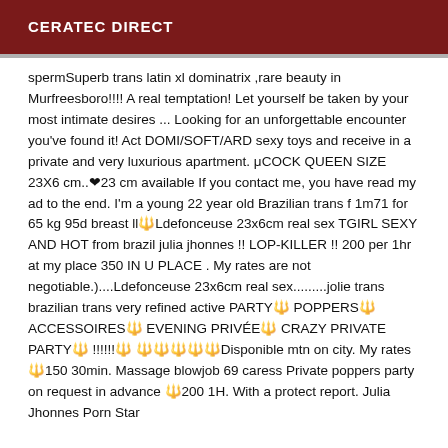CERATEC DIRECT
spermSuperb trans latin xl dominatrix ,rare beauty in Murfreesboro!!!! A real temptation! Let yourself be taken by your most intimate desires ... Looking for an unforgettable encounter you've found it! Act DOMI/SOFT/ARD sexy toys and receive in a private and very luxurious apartment. μCOCK QUEEN SIZE 23X6 cm..❤23 cm available If you contact me, you have read my ad to the end. I'm a young 22 year old Brazilian trans f 1m71 for 65 kg 95d breast ll🔱Ldefonceuse 23x6cm real sex TGIRL SEXY AND HOT from brazil julia jhonnes !! LOP-KILLER !! 200 per 1hr at my place 350 IN U PLACE . My rates are not negotiable.)....Ldefonceuse 23x6cm real sex.........jolie trans brazilian trans very refined active PARTY🔱 POPPERS🔱 ACCESSOIRES🔱 EVENING PRIVÉE🔱 CRAZY PRIVATE PARTY🔱 !!!!!!🔱 🔱🔱🔱🔱🔱Disponible mtn on city. My rates 🔱150 30min. Massage blowjob 69 caress Private poppers party on request in advance 🔱200 1H. With a protect report. Julia Jhonnes Porn Star